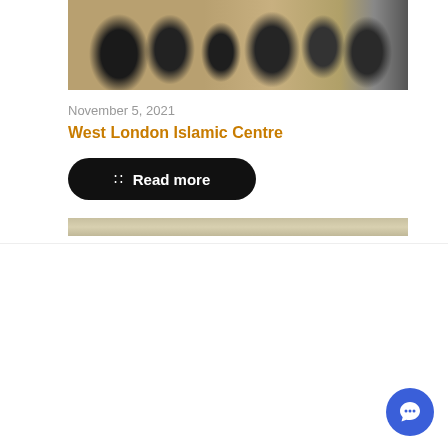[Figure (photo): Crowded indoor event with people sitting and standing around long tables, appears to be a community gathering or dinner]
November 5, 2021
West London Islamic Centre
Read more
[Figure (photo): Partial view of next card image, tan/khaki colored]
We use cookies on our website to give you the most relevant experience by remembering your preferences and repeat visits. By clicking “Accept All”, you consent to the use of ALL the cookies. However, you may visit "Cookie Settings" to provide a controlled consent.
Cookie Settings
Accept All